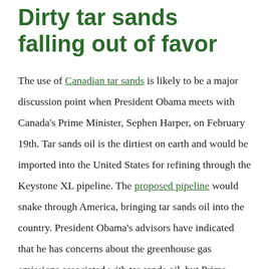Dirty tar sands falling out of favor
The use of Canadian tar sands is likely to be a major discussion point when President Obama meets with Canada's Prime Minister, Sephen Harper, on February 19th. Tar sands oil is the dirtiest on earth and would be imported into the United States for refining through the Keystone XL pipeline. The proposed pipeline would snake through America, bringing tar sands oil into the country. President Obama's advisors have indicated that he has concerns about the greenhouse gas emissions associated with tar sands oil, but Prime Minister Harper is touting it as the future of an energy / security package that would curtail American imports of foreign oil from the Middle East. We are urging our new President to resist dirty tar sands oil and instead